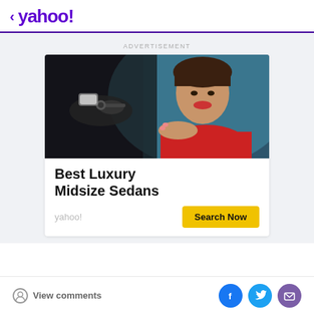< yahoo!
ADVERTISEMENT
[Figure (photo): Woman in red top smiling while receiving car keys inside a vehicle, with a man's hand extending keys toward her.]
Best Luxury Midsize Sedans
yahoo!  Search Now
View comments